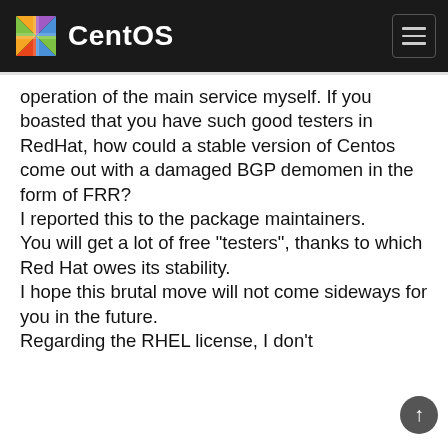CentOS
operation of the main service myself. If you boasted that you have such good testers in RedHat, how could a stable version of Centos come out with a damaged BGP demomen in the form of FRR?
I reported this to the package maintainers.
You will get a lot of free "testers", thanks to which Red Hat owes its stability.
I hope this brutal move will not come sideways for you in the future.
Regarding the RHEL license, I don't